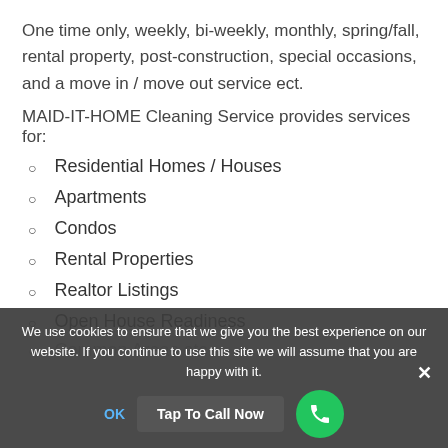One time only, weekly, bi-weekly, monthly, spring/fall, rental property, post-construction, special occasions, and a move in / move out service ect.
MAID-IT-HOME Cleaning Service provides services for:
Residential Homes / Houses
Apartments
Condos
Rental Properties
Realtor Listings
Open House Readiness
Common Areas etc.
We use cookies to ensure that we give you the best experience on our website. If you continue to use this site we will assume that you are happy with it.